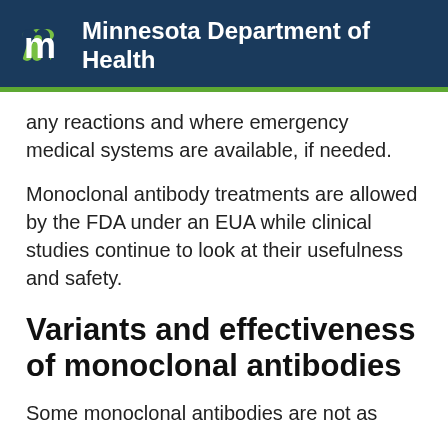Minnesota Department of Health
any reactions and where emergency medical systems are available, if needed.
Monoclonal antibody treatments are allowed by the FDA under an EUA while clinical studies continue to look at their usefulness and safety.
Variants and effectiveness of monoclonal antibodies
Some monoclonal antibodies are not as